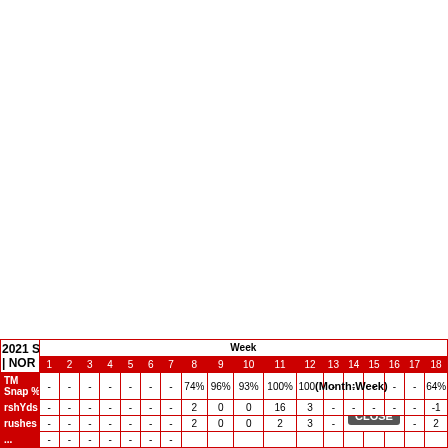| 2021 Stats | NOR | Week | 1 | 2 | 3 | 4 | 5 | 6 | 7 | 8 | 9 | 10 | 11 | 12 | 13 | 14 | 15 | 16 | 17 | 18 |
| --- | --- | --- | --- | --- | --- | --- | --- | --- | --- | --- | --- | --- | --- | --- | --- | --- | --- | --- | --- |
| TM Snap % | - | - | - | - | - | - | - | 74% | 96% | 93% | 100% | 100%(Month:Week) |  |  |  |  |  | 64% |
| rshYds | - | - | - | - | - | - | - | 2 | 0 | 0 | 16 | 3 | - | - | - | - | - | -1 |
| rushes | - | - | - | - | - | - | - | 2 | 0 | 0 | 2 | 3 | - | CLOSE |  |  | - | 2 |
| ... | - | - | - | - | - | - | - |  |  |  |  |  |  |  |  |  |  |  |